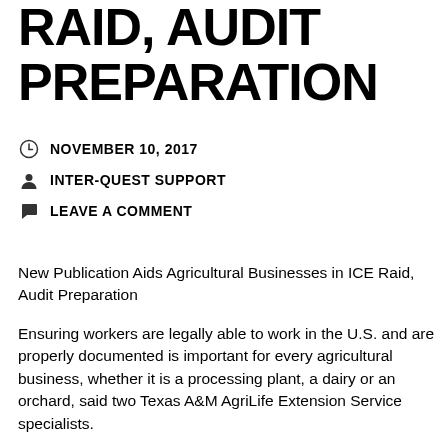RAID, AUDIT PREPARATION
NOVEMBER 10, 2017
INTER-QUEST SUPPORT
LEAVE A COMMENT
New Publication Aids Agricultural Businesses in ICE Raid, Audit Preparation
Ensuring workers are legally able to work in the U.S. and are properly documented is important for every agricultural business, whether it is a processing plant, a dairy or an orchard, said two Texas A&M AgriLife Extension Service specialists.
Ellen Jordan, AgriLife Extension dairy specialist in Dallas, and Tiffany Dowell Lashmet, AgriLife Extension agricultural law